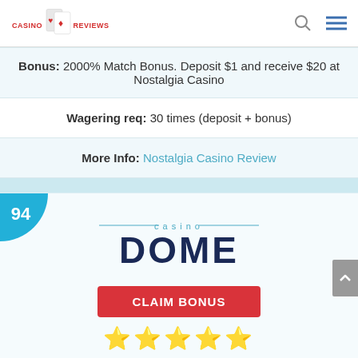[Figure (logo): Casino Reviews logo with playing cards]
Bonus: 2000% Match Bonus. Deposit $1 and receive $20 at Nostalgia Casino
Wagering req: 30 times (deposit + bonus)
More Info: Nostalgia Casino Review
[Figure (logo): Casino Dome logo with rating badge 94 and Claim Bonus button and 5 stars]
CLAIM BONUS